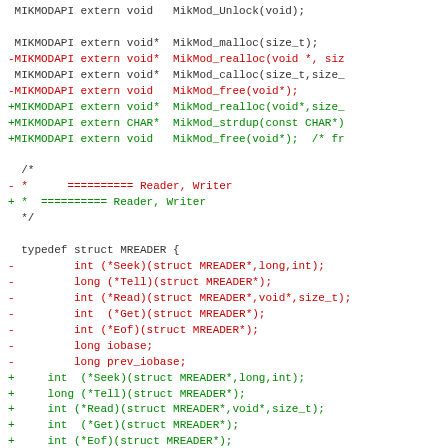[Figure (other): A code diff showing changes to a C header file. Lines in red (prefixed with -) are removed, lines in green (prefixed with +) are added. Shows MIKMODAPI function declarations and a typedef struct MREADER definition.]